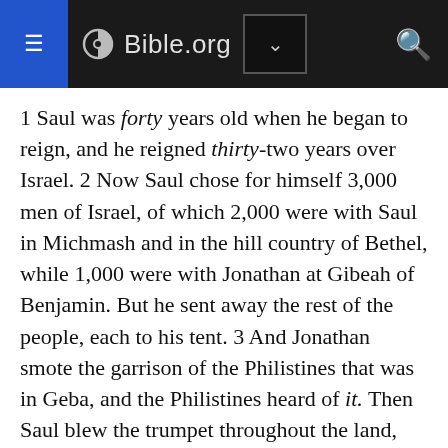Bible.org
1 Saul was forty years old when he began to reign, and he reigned thirty-two years over Israel. 2 Now Saul chose for himself 3,000 men of Israel, of which 2,000 were with Saul in Michmash and in the hill country of Bethel, while 1,000 were with Jonathan at Gibeah of Benjamin. But he sent away the rest of the people, each to his tent. 3 And Jonathan smote the garrison of the Philistines that was in Geba, and the Philistines heard of it. Then Saul blew the trumpet throughout the land, saying, “Let the Hebrews hear.” 4 And all Israel heard the news that Saul had smitten the garrison of the Philistines, and also that Israel had become odious to the Philistines. The people were then summoned to Saul at Gilgal. 5 Now the Philistines assembled to fight with Israel, 30,000 chariots and 6,000 horsemen, and people like the sand which is on the seashore in abundance; and they came up and camped in Michmash, east of Beth-aven. 6 When the